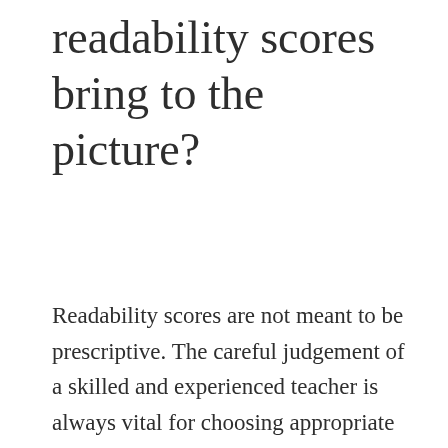readability scores bring to the picture?
Readability scores are not meant to be prescriptive. The careful judgement of a skilled and experienced teacher is always vital for choosing appropriate texts.